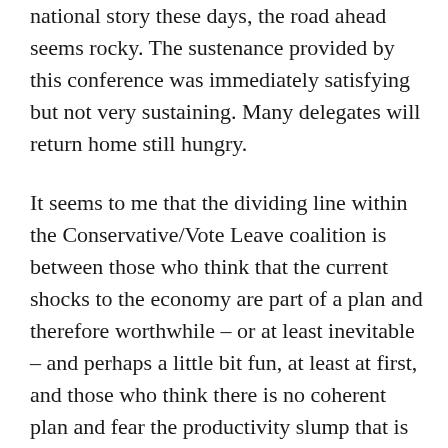national story these days, the road ahead seems rocky. The sustenance provided by this conference was immediately satisfying but not very sustaining. Many delegates will return home still hungry.
It seems to me that the dividing line within the Conservative/Vote Leave coalition is between those who think that the current shocks to the economy are part of a plan and therefore worthwhile – or at least inevitable – and perhaps a little bit fun, at least at first, and those who think there is no coherent plan and fear the productivity slump that is imminent. Johnson